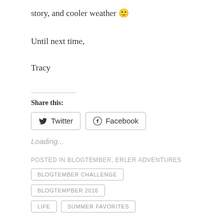story, and cooler weather 🙂
Until next time,
Tracy
Share this:
[Figure (other): Twitter and Facebook share buttons]
Loading...
POSTED IN BLOGTEMBER, ERLER ADVENTURES
BLOGTEMBER CHALLENGE  BLOGTEMPBER 2016  LIFE  SUMMER FAVORITES